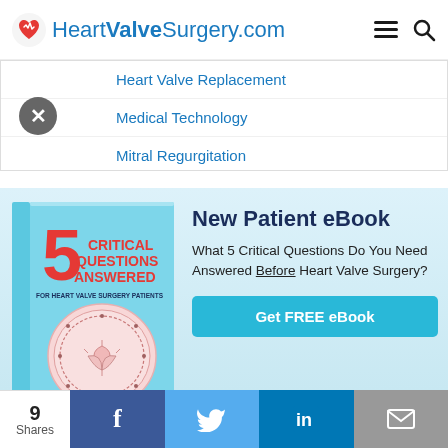HeartValveSurgery.com
Heart Valve Replacement
Medical Technology
Mitral Regurgitation
[Figure (illustration): Book cover: 5 Critical Questions Answered for Heart Valve Surgery Patients, light blue cover with heart valve diagram]
New Patient eBook
What 5 Critical Questions Do You Need Answered Before Heart Valve Surgery?
Get FREE eBook
9 Shares | Facebook | Twitter | LinkedIn | Email